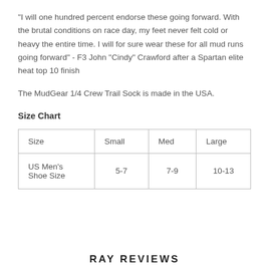"I will one hundred percent endorse these going forward.  With the brutal conditions on race day, my feet never felt cold or heavy the entire time.  I will for sure wear these for all mud runs going forward" - F3 John "Cindy" Crawford after a Spartan elite heat top 10 finish
The MudGear 1/4 Crew Trail Sock is made in the USA.
Size Chart
| Size | Small | Med | Large |
| --- | --- | --- | --- |
| US Men's Shoe Size | 5-7 | 7-9 | 10-13 |
RAY REVIEWS